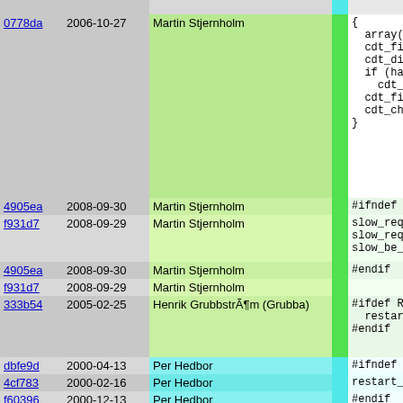| hash | date | author | bar | code |
| --- | --- | --- | --- | --- |
| 0778da | 2006-10-27 | Martin Stjernholm |  | {
  array(
  cdt_fi
  cdt_di
  if (ha
    cdt_
  cdt_fi
  cdt_ch
} |
| 4905ea | 2008-09-30 | Martin Stjernholm |  | #ifndef NO |
| f931d7 | 2008-09-29 | Martin Stjernholm |  | slow_req
slow_req
slow_be_ |
| 4905ea | 2008-09-30 | Martin Stjernholm |  | #endif |
| f931d7 | 2008-09-29 | Martin Stjernholm |  |  |
| 333b54 | 2005-02-25 | Henrik Grubbström (Grubba) |  | #ifdef ROX
  restart_
#endif |
| dbfe9d | 2000-04-13 | Per Hedbor |  | #ifndef __ |
| 4cf783 | 2000-02-16 | Per Hedbor |  | restart_ |
| f60396 | 2000-12-13 | Per Hedbor |  | #endif
#ifdef  R |